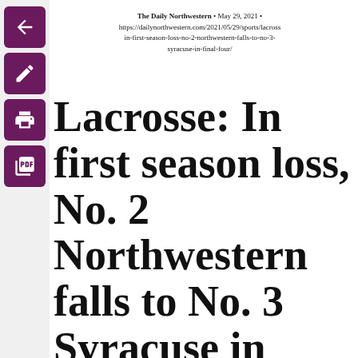The Daily Northwestern • May 29, 2021 • https://dailynorthwestern.com/2021/05/29/sports/lacross in-first-season-loss-no-2-northwestern-falls-to-no-3-syracuse-in-final-four/
Lacrosse: In first season loss, No. 2 Northwestern falls to No. 3 Syracuse in Final Four